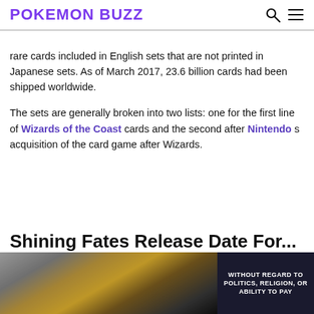POKEMON BUZZ
rare cards included in English sets that are not printed in Japanese sets. As of March 2017, 23.6 billion cards had been shipped worldwide.
The sets are generally broken into two lists: one for the first line of Wizards of the Coast cards and the second after Nintendo s acquisition of the card game after Wizards.
Shining Fates Release Date For...
[Figure (photo): Advertisement banner showing cargo planes being loaded with freight. A dark overlay on the right reads WITHOUT REGARD TO POLITICS, RELIGION, OR ABILITY TO PAY.]